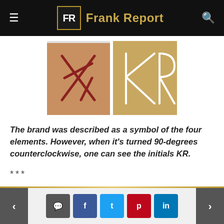Frank Report
[Figure (photo): Two side-by-side images showing a brand/scar mark. Left image shows the brand on skin appearing as overlapping lines burned/scarred into flesh. Right image shows the same symbol drawn in white lines on a tan background, resembling the initials KR when rotated 90 degrees counterclockwise.]
The brand was described as a symbol of the four elements. However, when it's turned 90-degrees counterclockwise, one can see the initials KR.
***
What is collateral?
< [comment] [f] [t] [p] [in] >